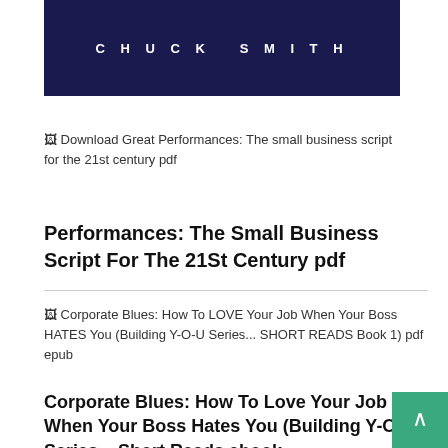[Figure (illustration): Dark navy book cover with 'CHUCK SMITH' text in white spaced letters]
Download Great Performances: The small business script for the 21st century pdf
Performances: The Small Business Script For The 21St Century pdf
Corporate Blues: How To LOVE Your Job When Your Boss HATES You (Building Y-O-U Series... SHORT READS Book 1) pdf epub
Corporate Blues: How To Love Your Job When Your Boss Hates You (Building Y-O-U Series... Short Reads ebook